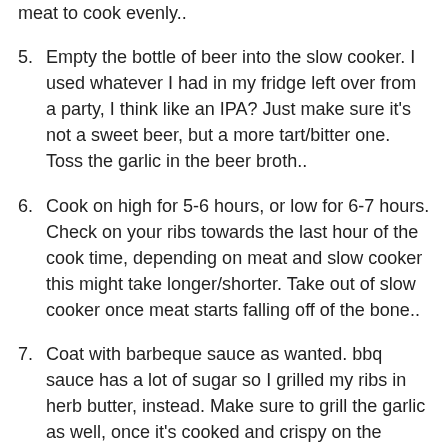meat to cook evenly..
Empty the bottle of beer into the slow cooker. I used whatever I had in my fridge left over from a party, I think like an IPA? Just make sure it’s not a sweet beer, but a more tart/bitter one. Toss the garlic in the beer broth..
Cook on high for 5-6 hours, or low for 6-7 hours. Check on your ribs towards the last hour of the cook time, depending on meat and slow cooker this might take longer/shorter. Take out of slow cooker once meat starts falling off of the bone..
Coat with barbeque sauce as wanted. bbq sauce has a lot of sugar so I grilled my ribs in herb butter, instead. Make sure to grill the garlic as well, once it’s cooked and crispy on the outside, it becomes soft and buttery on the inside..
I served with roasted Japanese sweet potatoes..